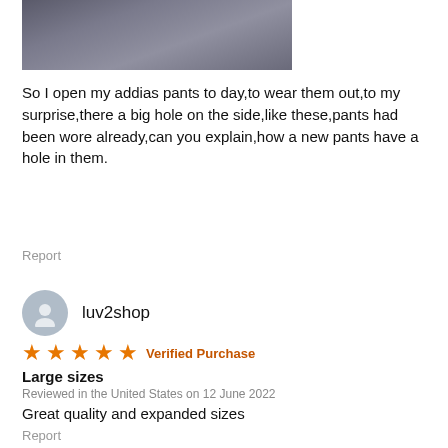[Figure (photo): Close-up photo of dark grey fabric/pants showing texture, partially cropped at top of page]
So I open my addias pants to day,to wear them out,to my surprise,there a big hole on the side,like these,pants had been wore already,can you explain,how a new pants have a hole in them.
Report
luv2shop
★★★★★ Verified Purchase
Large sizes
Reviewed in the United States on 12 June 2022
Great quality and expanded sizes
Report